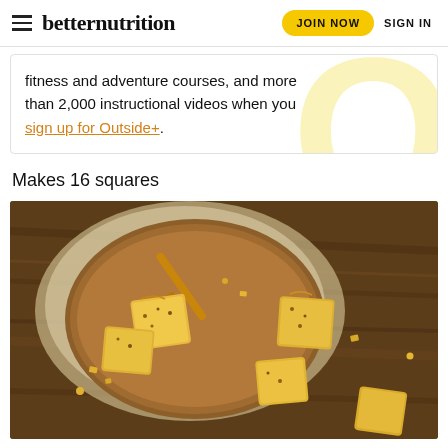betternutrition | JOIN NOW | SIGN IN
fitness and adventure courses, and more than 2,000 instructional videos when you sign up for Outside+.
Makes 16 squares
[Figure (photo): Overhead photo of honey cake squares/bars on a wooden cutting board with a honey dipper, drizzled with honey and scattered crumbs, on a rustic wooden table.]